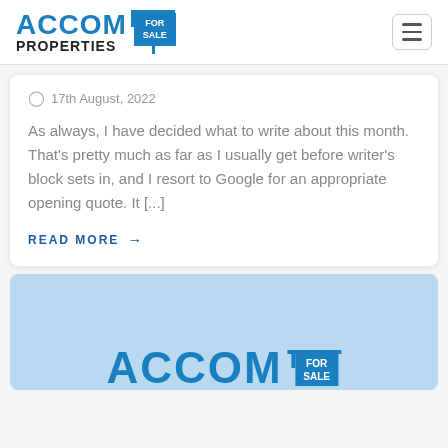[Figure (logo): ACCOM PROPERTIES FOR SALE logo in blue with a for-sale sign icon]
17th August, 2022
As always, I have decided what to write about this month.  That’s pretty much as far as I usually get before writer’s block sets in, and I resort to Google for an appropriate opening quote. It [...]
READ MORE →
[Figure (logo): ACCOM FOR SALE logo large on a light blue background card]